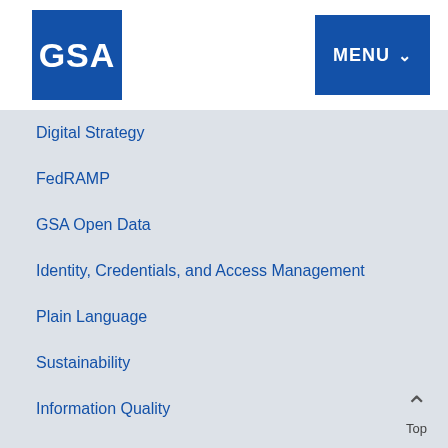[Figure (logo): GSA logo — white text 'GSA' on dark blue square background]
MENU ∨
Digital Strategy
FedRAMP
GSA Open Data
Identity, Credentials, and Access Management
Plain Language
Sustainability
Information Quality
Customer Support
Contact Us
Customer Service Directors
Vendor Support Center